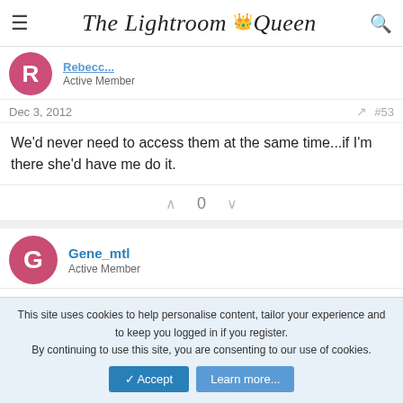The Lightroom Queen
Rebecc... Active Member
Dec 3, 2012  #53
We'd never need to access them at the same time...if I'm there she'd have me do it.
0
Gene_mtl Active Member
This site uses cookies to help personalise content, tailor your experience and to keep you logged in if you register. By continuing to use this site, you are consenting to our use of cookies.